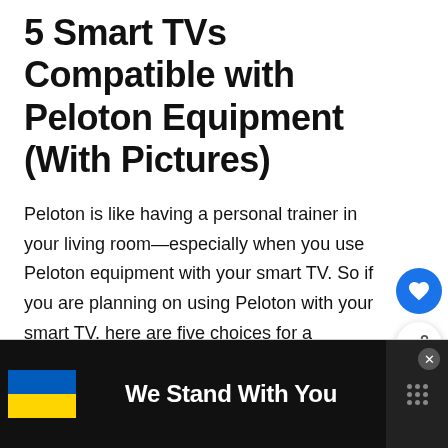5 Smart TVs Compatible with Peloton Equipment (With Pictures)
Peloton is like having a personal trainer in your living room—especially when you use Peloton equipment with your smart TV. So if you are planning on using Peloton with your smart TV, here are five choices for a compatible smart TV. What Do You Need to Run the Peloton App on Your Smart TV? The …
Read More »
[Figure (infographic): Advertisement banner on black background with Ukrainian flag (blue and yellow) on the left, bold white text 'We Stand With You' in the center, and a close button (×) at top right. Right side shows a gray panel with a grid of dots icon.]